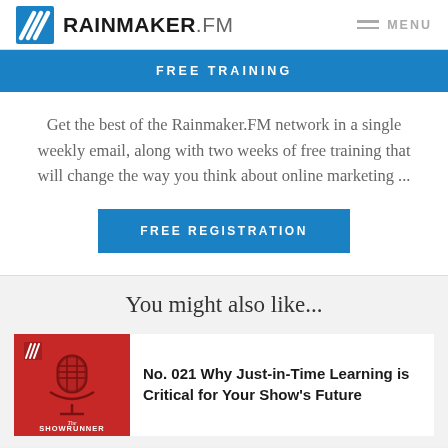RAINMAKER.FM  MENU
FREE TRAINING
Get the best of the Rainmaker.FM network in a single weekly email, along with two weeks of free training that will change the way you think about online marketing ...
FREE REGISTRATION
You might also like...
No. 021 Why Just-in-Time Learning is Critical for Your Show’s Future